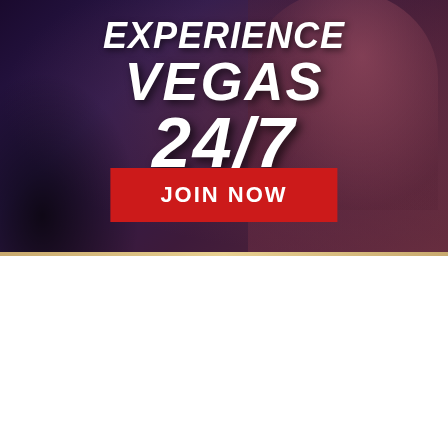[Figure (advertisement): Online casino advertisement with dark purple/red background showing a person at a poker table. Large white bold italic text reads 'EXPERIENCE VEGAS 24/7' with a red 'JOIN NOW' button below.]
[Figure (advertisement): Bovada Poker advertisement showing a smiling man on the left and a woman on the right against a dark background. White and red bold italic text reads 'TAKE YOUR SEAT WITH BOVADA POKER'.]